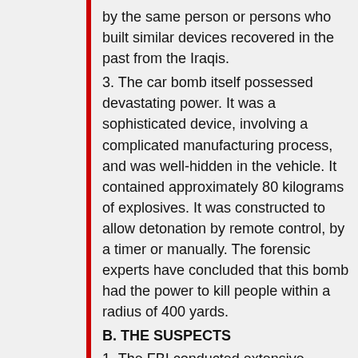by the same person or persons who built similar devices recovered in the past from the Iraqis.
3. The car bomb itself possessed devastating power. It was a sophisticated device, involving a complicated manufacturing process, and was well-hidden in the vehicle. It contained approximately 80 kilograms of explosives. It was constructed to allow detonation by remote control, by a timer or manually. The forensic experts have concluded that this bomb had the power to kill people within a radius of 400 yards.
B. THE SUSPECTS
1. The FBI conducted extensive interviews of the 16 suspects now on trial in Kuwait